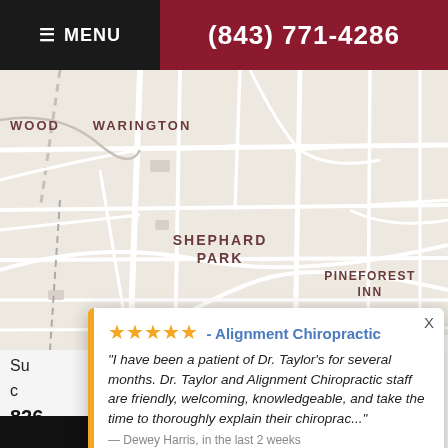≡ MENU | (843) 771-4286
[Figure (map): Street map showing neighborhoods: WOOD, WARINGTON, SHEPHARD PARK, PINEFOREST INN with road network]
Leaflet | Map data provided by Internet Brands
★★★★★ - Alignment Chiropractic
"I have been a patient of Dr. Taylor's for several months. Dr. Taylor and Alignment Chiropractic staff are friendly, welcoming, knowledgeable, and take the time to thoroughly explain their chiroprac..." — Dewey Harris, in the last 2 weeks
⚡ by Review Wave
Su... c... ctor has needs.
826...
9:00 am-1:00 PM